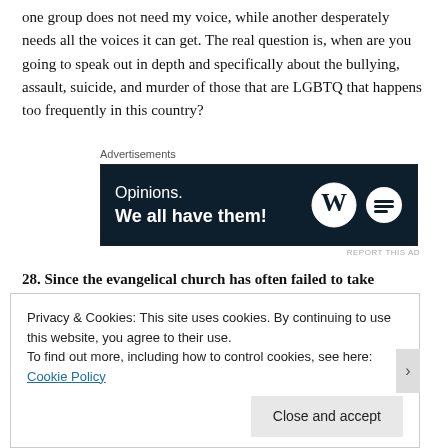one group does not need my voice, while another desperately needs all the voices it can get. The real question is, when are you going to speak out in depth and specifically about the bullying, assault, suicide, and murder of those that are LGBTQ that happens too frequently in this country?
[Figure (other): Advertisement banner with dark navy background reading 'Opinions. We all have them!' with WordPress and Blavity logos]
28. Since the evangelical church has often failed to take unbiblical divorces and other sexual sins seriously, what steps will you take to ensure that gay marriages are healthy and accord with Scriptural principles?
Another self-answering question. I would teach them what the Bible teaches on divorce and extra-marital sex. That would apply to all same sex
Privacy & Cookies: This site uses cookies. By continuing to use this website, you agree to their use.
To find out more, including how to control cookies, see here: Cookie Policy
Close and accept